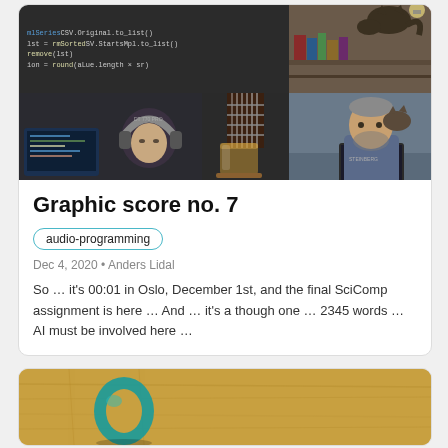[Figure (photo): Collage of 4 photos: code editor screenshot (dark background with Python-like code), a tabby cat on a shelf/cabinet, a person wearing DT 770 PRO headphones at a computer monitor, guitar strings with a glass of whiskey, a man working at a laptop with a cat on his shoulder]
Graphic score no. 7
audio-programming
Dec 4, 2020 • Anders Lidal
So … it's 00:01 in Oslo, December 1st, and the final SciComp assignment is here … And … it's a though one … 2345 words … AI must be involved here …
[Figure (photo): A teal/turquoise ring-shaped object (possibly a capo or musical accessory) lying on a light-colored wooden board/surface]